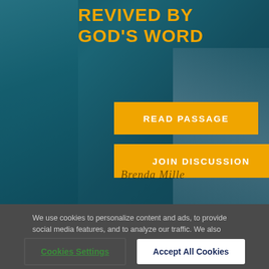REVIVED BY GOD'S WORD
READ PASSAGE
JOIN DISCUSSION
We use cookies to personalize content and ads, to provide social media features, and to analyze our traffic. We also share information about your use of our site with our social media, advertising, and analytics partners.
Cookies Settings
Accept All Cookies